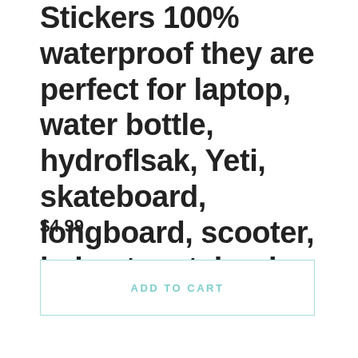Stickers 100% waterproof they are perfect for laptop, water bottle, hydroflsak, Yeti, skateboard, longboard, scooter, helmet, notebook...
$4.99
ADD TO CART